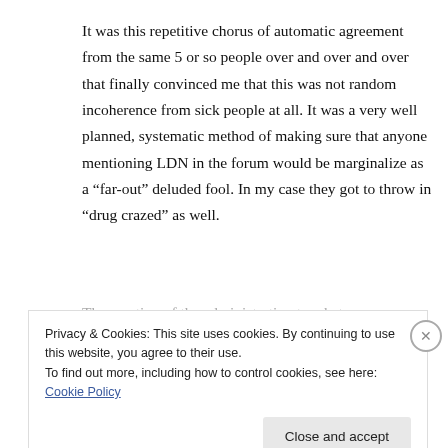It was this repetitive chorus of automatic agreement from the same 5 or so people over and over and over that finally convinced me that this was not random incoherence from sick people at all. It was a very well planned, systematic method of making sure that anyone mentioning LDN in the forum would be marginalize as a “far-out” deluded fool. In my case they got to throw in “drug crazed” as well.
The reaction of the administration to what was
Privacy & Cookies: This site uses cookies. By continuing to use this website, you agree to their use.
To find out more, including how to control cookies, see here: Cookie Policy